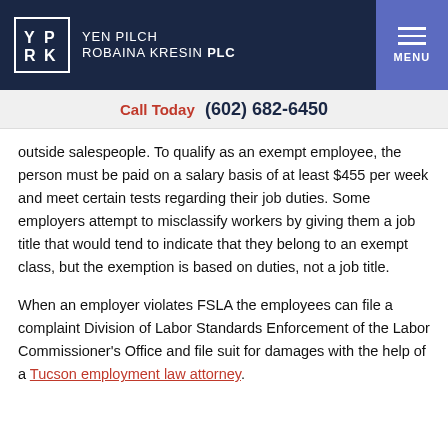YEN PILCH ROBAINA KRESIN PLC
Call Today  (602) 682-6450
outside salespeople. To qualify as an exempt employee, the person must be paid on a salary basis of at least $455 per week and meet certain tests regarding their job duties. Some employers attempt to misclassify workers by giving them a job title that would tend to indicate that they belong to an exempt class, but the exemption is based on duties, not a job title.
When an employer violates FSLA the employees can file a complaint Division of Labor Standards Enforcement of the Labor Commissioner's Office and file suit for damages with the help of a Tucson employment law attorney.